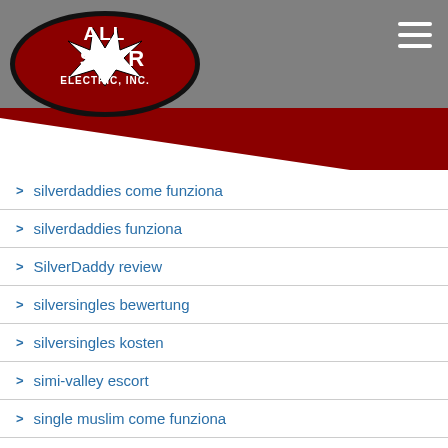[Figure (logo): All Star Electric, Inc. logo with star on dark oval background]
silverdaddies come funziona
silverdaddies funziona
SilverDaddy review
silversingles bewertung
silversingles kosten
simi-valley escort
single muslim come funziona
single muslim espa?a